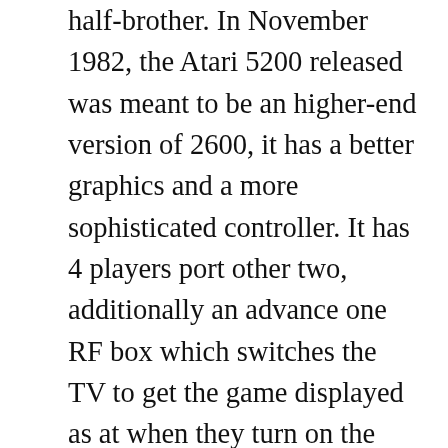half-brother. In November 1982, the Atari 5200 released was meant to be an higher-end version of 2600, it has a better graphics and a more sophisticated controller. It has 4 players port other two, additionally an advance one RF box which switches the TV to get the game displayed as at when they turn on the Console. By now, some thoughts will have probably been going on in your head. You might be wondering if this section is no longer for Atari Computers, why are we so particular about the Atari 5200. You are probably right with your answers, but the fact is that we made mention of the 5200 simply because that hardware present in the Console are identical, which is 400 and 800 computers. As the development started, the